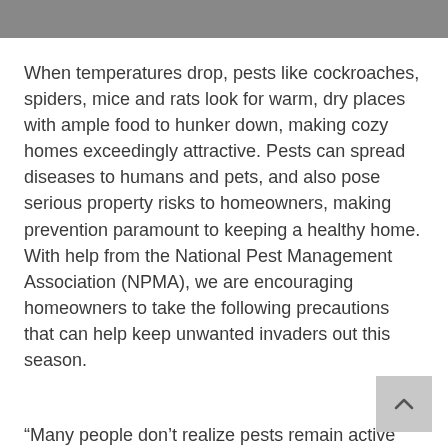When temperatures drop, pests like cockroaches, spiders, mice and rats look for warm, dry places with ample food to hunker down, making cozy homes exceedingly attractive. Pests can spread diseases to humans and pets, and also pose serious property risks to homeowners, making prevention paramount to keeping a healthy home. With help from the National Pest Management Association (NPMA), we are encouraging homeowners to take the following precautions that can help keep unwanted invaders out this season.
“Many people don’t realize pests remain active